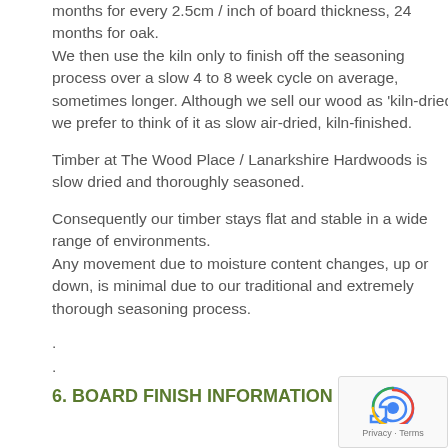months for every 2.5cm / inch of board thickness, 24 months for oak.
We then use the kiln only to finish off the seasoning process over a slow 4 to 8 week cycle on average, sometimes longer.  Although we sell our wood as 'kiln-dried' we prefer to think of it as slow air-dried, kiln-finished.
Timber at The Wood Place / Lanarkshire Hardwoods is slow dried and thoroughly seasoned.
Consequently our timber stays flat and stable in a wide range of environments.
Any movement due to moisture content changes, up or down, is minimal due to our traditional and extremely thorough seasoning process.
.
.
6. BOARD FINISH INFORMATION